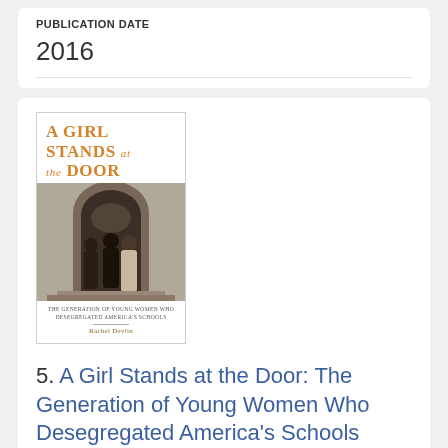PUBLICATION DATE
2016
[Figure (photo): Book cover of 'A Girl Stands at the Door: The Generation of Young Women Who Desegregated America's Schools' by Rachel Devlin. Orange serif title text over a black and white photograph of young women at a school doorway.]
5. A Girl Stands at the Door: The Generation of Young Women Who Desegregated America's Schools